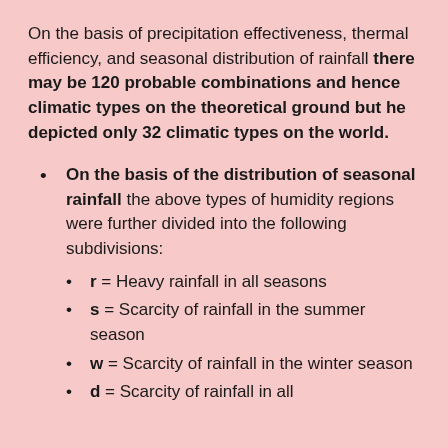On the basis of precipitation effectiveness, thermal efficiency, and seasonal distribution of rainfall there may be 120 probable combinations and hence climatic types on the theoretical ground but he depicted only 32 climatic types on the world.
On the basis of the distribution of seasonal rainfall the above types of humidity regions were further divided into the following subdivisions:
r = Heavy rainfall in all seasons
s = Scarcity of rainfall in the summer season
w = Scarcity of rainfall in the winter season